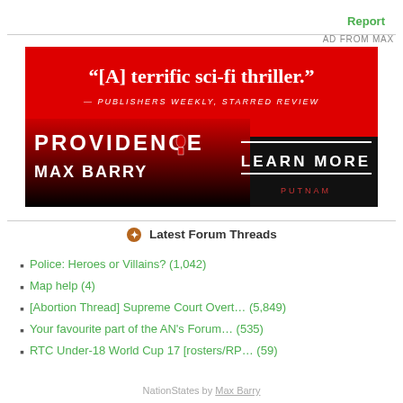Report
AD FROM MAX
[Figure (illustration): Advertisement banner for the book 'Providence' by Max Barry. Red and black background. Large white text: "[A] terrific sci-fi thriller." with subtitle '— PUBLISHERS WEEKLY, STARRED REVIEW'. Book title PROVIDENCE and author MAX BARRY on the left. Right side shows 'LEARN MORE' button with PUTNAM publisher logo.]
Latest Forum Threads
Police: Heroes or Villains? (1,042)
Map help (4)
[Abortion Thread] Supreme Court Overt… (5,849)
Your favourite part of the AN's Forum… (535)
RTC Under-18 World Cup 17 [rosters/RP… (59)
NationStates by Max Barry